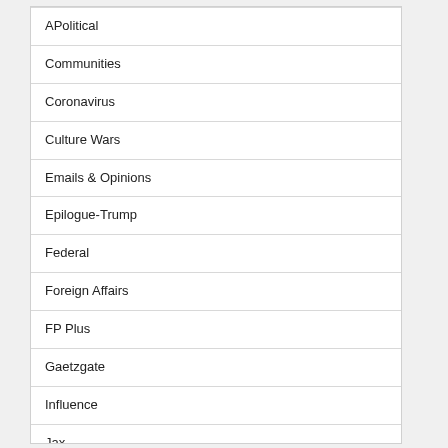APolitical
Communities
Coronavirus
Culture Wars
Emails & Opinions
Epilogue-Trump
Federal
Foreign Affairs
FP Plus
Gaetzgate
Influence
Jax
Local